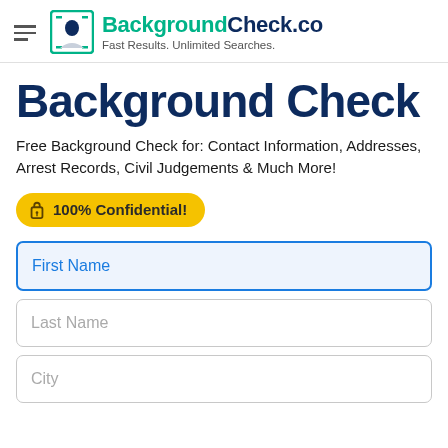BackgroundCheck.co — Fast Results. Unlimited Searches.
Background Check
Free Background Check for: Contact Information, Addresses, Arrest Records, Civil Judgements & Much More!
100% Confidential!
First Name
Last Name
City